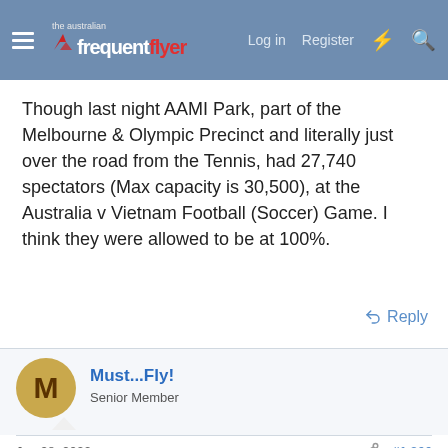the australian frequent flyer — Log in | Register
Though last night AAMI Park, part of the Melbourne & Olympic Precinct and literally just over the road from the Tennis, had 27,740 spectators (Max capacity is 30,500), at the Australia v Vietnam Football (Soccer) Game. I think they were allowed to be at 100%.
Reply
Must...Fly! — Senior Member
Jan 28, 2022   #1,366
TheRealTMA said: ↑  Like Australian govt should issue a warrant and extradite him back to Australia? 🙂 🙂 🙂